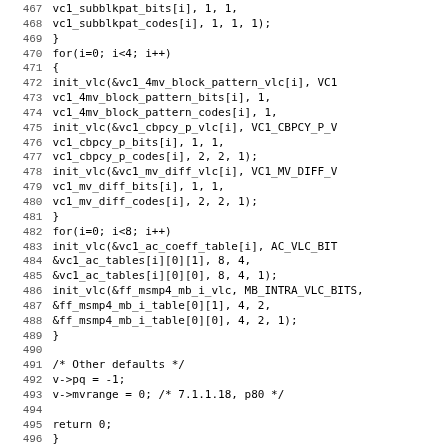[Figure (screenshot): Source code listing (C code) showing lines 467-499 of a video codec implementation, including VLC initialization calls for VC1 and MSMP4 tables, and function return/closing statements.]